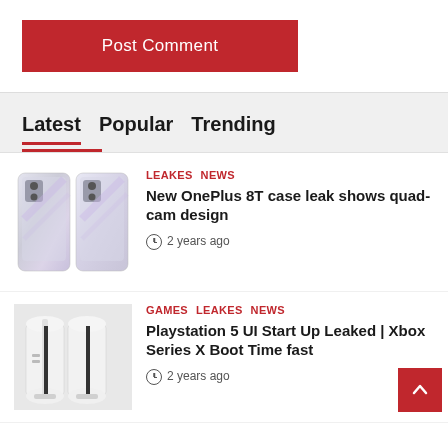Post Comment
Latest  Popular  Trending
[Figure (photo): Two OnePlus 8T smartphones showing quad-camera design on back]
Leakes  News
New OnePlus 8T case leak shows quad-cam design
2 years ago
[Figure (photo): PlayStation 5 console white design front view]
Games  Leakes  News
Playstation 5 UI Start Up Leaked | Xbox Series X Boot Time fast
2 years ago